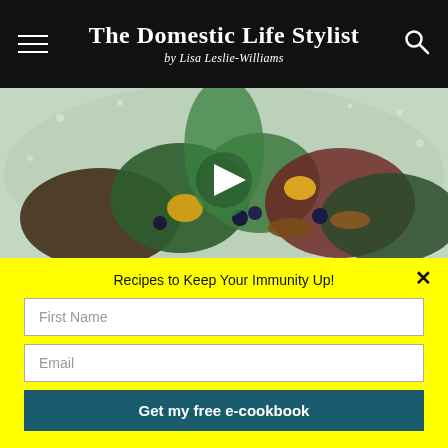The Domestic Life Stylist by Lisa Leslie-Williams
[Figure (photo): Food/salad video thumbnail with a play button in the center, showing a colorful salad with greens, yellow squash, dark berries, nuts, and red radicchio in a bowl with condensation]
Recipes to Keep Your Immunity Up!
First Name
Email
Get my free e-cookbook